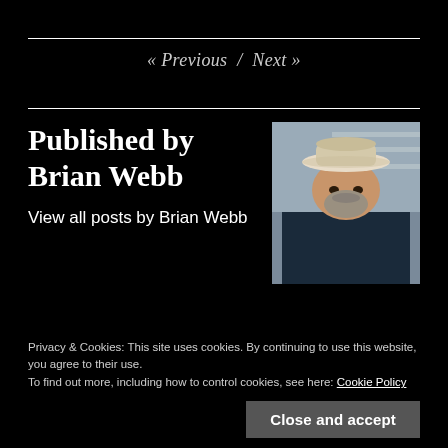« Previous  /  Next »
Published by Brian Webb
[Figure (photo): Photo of Brian Webb, an older man wearing a white cowboy hat and dark shirt, seated indoors]
View all posts by Brian Webb
Privacy & Cookies: This site uses cookies. By continuing to use this website, you agree to their use.
To find out more, including how to control cookies, see here: Cookie Policy
Close and accept